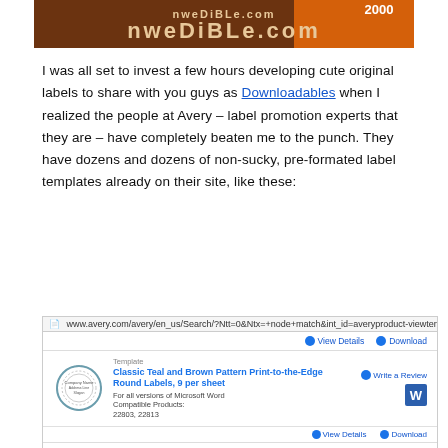[Figure (screenshot): nwedible.com website banner/logo in brown and orange tones with text '2000' and 'nweDiBLe.com']
I was all set to invest a few hours developing cute original labels to share with you guys as Downloadables when I realized the people at Avery – label promotion experts that they are – have completely beaten me to the punch. They have dozens and dozens of non-sucky, pre-formated label templates already on their site, like these:
[Figure (screenshot): Screenshot of www.avery.com showing label templates including Classic Teal and Brown Pattern Print-to-the-Edge Round Labels 9 per sheet, Simple Flower 2.5 Round Labels 9 per sheet, and Blue Bird Design 2.6 Round Labels 9 per sheet, all for Microsoft Word]